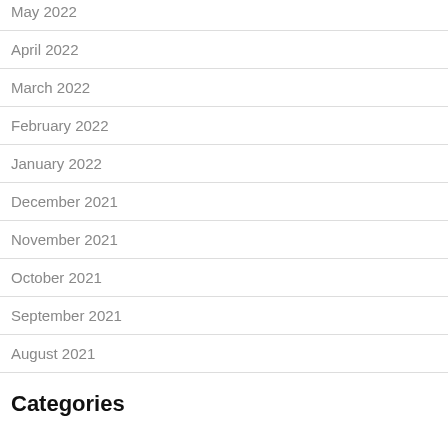May 2022
April 2022
March 2022
February 2022
January 2022
December 2021
November 2021
October 2021
September 2021
August 2021
Categories